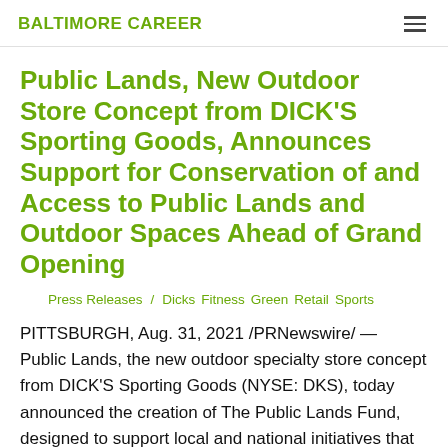BALTIMORE CAREER
Public Lands, New Outdoor Store Concept from DICK'S Sporting Goods, Announces Support for Conservation of and Access to Public Lands and Outdoor Spaces Ahead of Grand Opening
Press Releases / Dicks Fitness Green Retail Sports
PITTSBURGH, Aug. 31, 2021 /PRNewswire/ — Public Lands, the new outdoor specialty store concept from DICK'S Sporting Goods (NYSE: DKS), today announced the creation of The Public Lands Fund, designed to support local and national initiatives that protect new lands, improve existing lands, break